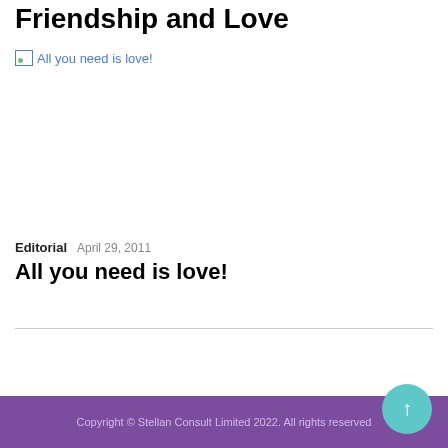Friendship and Love
[Figure (photo): Broken image link labeled 'All you need is love!']
Editorial  April 29, 2011
All you need is love!
Copyright © Stellan Consult Limited 2022. All rights reserved